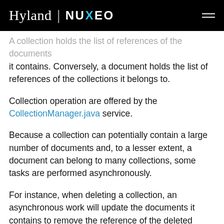Hyland | NUXEO
A collection holds the list of references of the documents it contains. Conversely, a document holds the list of references of the collections it belongs to.
Collection operation are offered by the CollectionManager.java service.
Because a collection can potentially contain a large number of documents and, to a lesser extent, a document can belong to many collections, some tasks are performed asynchronously.
For instance, when deleting a collection, an asynchronous work will update the documents it contains to remove the reference of the deleted collection. In the same way, when a document is removed, an [SEND FEEDBACK] ll update the collection it belonged to in order to remove the reference of the deleted document.